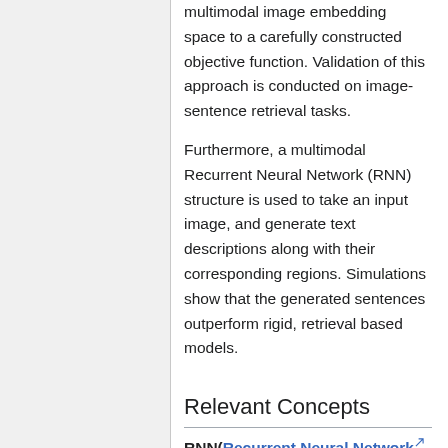multimodal image embedding space to a carefully constructed objective function. Validation of this approach is conducted on image-sentence retrieval tasks.
Furthermore, a multimodal Recurrent Neural Network (RNN) structure is used to take an input image, and generate text descriptions along with their corresponding regions. Simulations show that the generated sentences outperform rigid, retrieval based models.
Relevant Concepts
RNN(Recurrent Neural Network): The main feature of Recurrent neural network is for each step the decision of last step also become a source of input in the next step. Along with the original input, recurrent neural network have two